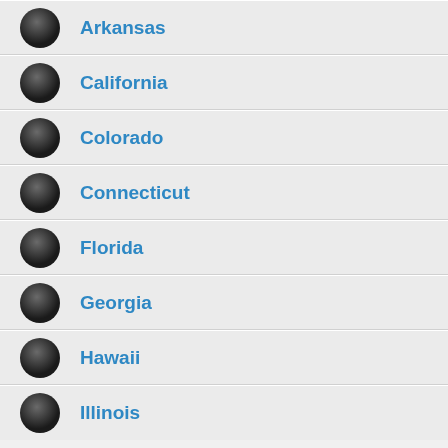Arkansas
California
Colorado
Connecticut
Florida
Georgia
Hawaii
Illinois